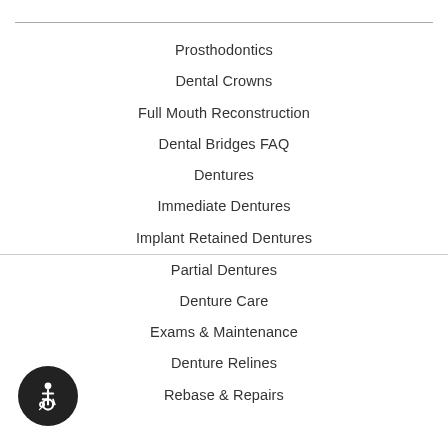Prosthodontics
Dental Crowns
Full Mouth Reconstruction
Dental Bridges FAQ
Dentures
Immediate Dentures
Implant Retained Dentures
Partial Dentures
Denture Care
Exams & Maintenance
Denture Relines
Rebase & Repairs